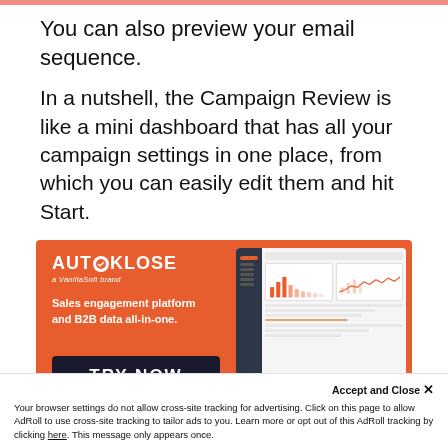You can also preview your email sequence.
In a nutshell, the Campaign Review is like a mini dashboard that has all your campaign settings in one place, from which you can easily edit them and hit Start.
[Figure (illustration): Autoklose advertisement banner with orange background showing logo, tagline 'Sales engagement platform and B2B data all-in-one.' and 'TRY NOW' button, alongside a screenshot of the Autoklose dashboard interface.]
Accept and Close ✕
Your browser settings do not allow cross-site tracking for advertising. Click on this page to allow AdRoll to use cross-site tracking to tailor ads to you. Learn more or opt out of this AdRoll tracking by clicking here. This message only appears once.